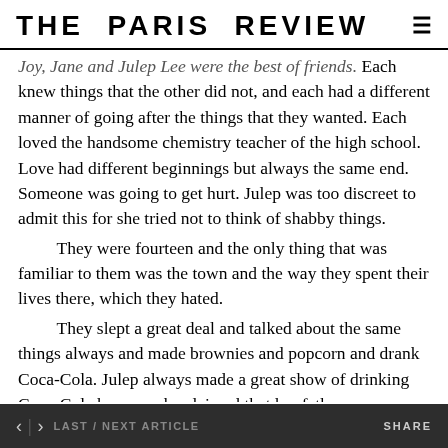THE PARIS REVIEW
Joy, Jane and Julep Lee were the best of friends. Each knew things that the other did not, and each had a different manner of going after the things that they wanted. Each loved the handsome chemistry teacher of the high school. Love had different beginnings but always the same end. Someone was going to get hurt. Julep was too discreet to admit this for she tried not to think of shabby things.

They were fourteen and the only thing that was familiar to them was the town and the way they spent their lives there, which they hated.

They slept a great deal and talked about the same things always and made brownies and popcorn and drank Coca-Cola. Julep always made a great show of drinking Coca-Cola because she claimed that her father
< > LAST / NEXT ARTICLE   SHARE